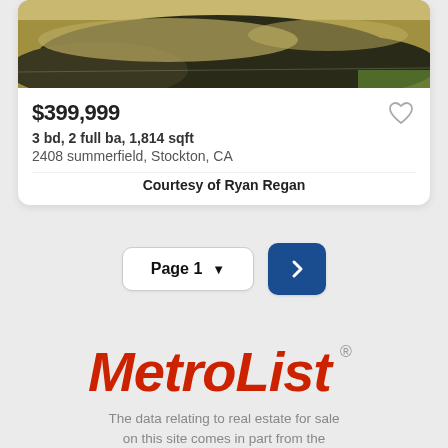[Figure (photo): Aerial or ground-level photo of a dry grass/dirt lot, partially clipped at top]
$399,999
3 bd, 2 full ba, 1,814 sqft
2408 summerfield, Stockton, CA
Courtesy of Ryan Regan
Page 1
[Figure (illustration): MetroList logo in red italic bold font with registered trademark symbol]
The data relating to real estate for sale on this site comes in part from the